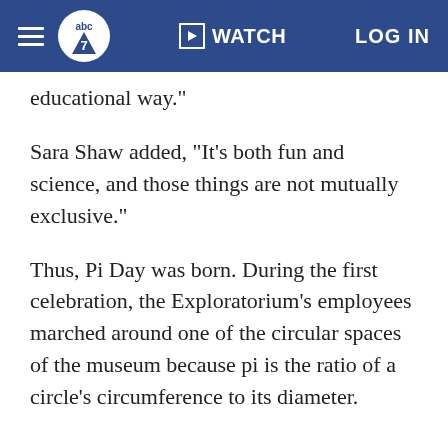ABC7 | WATCH | LOG IN
educational way."
Sara Shaw added, "It's both fun and science, and those things are not mutually exclusive."
Thus, Pi Day was born. During the first celebration, the Exploratorium's employees marched around one of the circular spaces of the museum because pi is the ratio of a circle's circumference to its diameter.